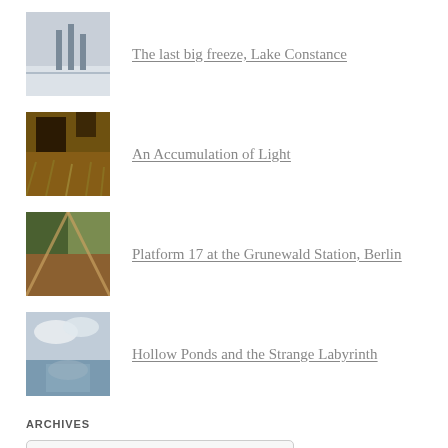The last big freeze, Lake Constance
An Accumulation of Light
Platform 17 at the Grunewald Station, Berlin
Hollow Ponds and the Strange Labyrinth
ARCHIVES
Select Month
STUFF WE LIKE
Caught by the River